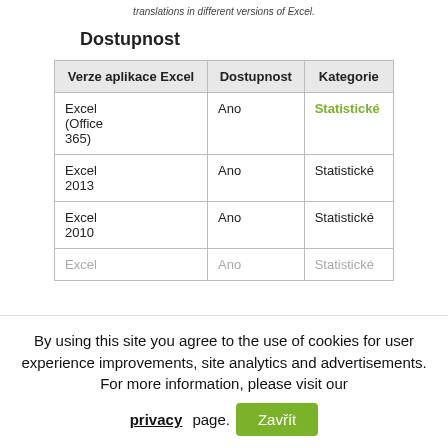translations in different versions of Excel.
Dostupnost
| Verze aplikace Excel | Dostupnost | Kategorie |
| --- | --- | --- |
| Excel (Office 365) | Ano | Statistické |
| Excel 2013 | Ano | Statistické |
| Excel 2010 | Ano | Statistické |
| Excel | Ano | Statistické |
By using this site you agree to the use of cookies for user experience improvements, site analytics and advertisements. For more information, please visit our privacy page.